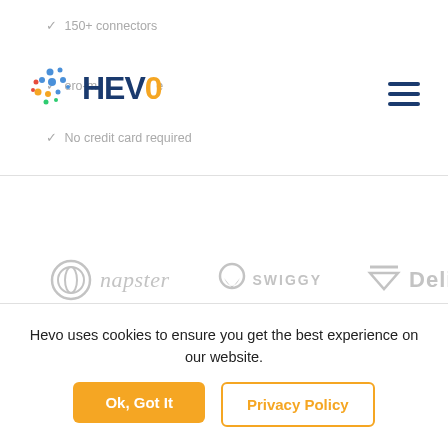[Figure (logo): Hevo Data logo with colorful dots and HEVO text in dark blue]
150+ connectors
Zero-maintenance
No credit card required
[Figure (illustration): Hamburger menu icon (three horizontal lines) in dark blue]
[Figure (logo): Napster logo - circle face icon with italic napster text in gray]
[Figure (logo): Swiggy logo - location pin icon with SWIGGY text in gray]
[Figure (logo): Deliv logo - arrow down icon with Deliv text in gray (partially visible)]
Hevo uses cookies to ensure you get the best experience on our website.
Ok, Got It
Privacy Policy